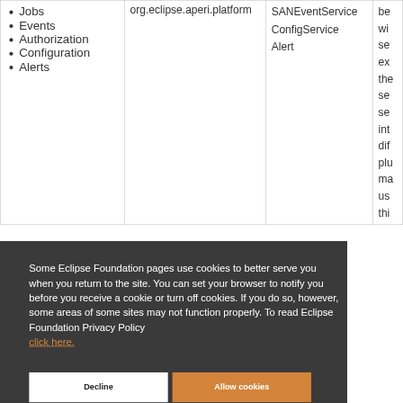| • Jobs
• Events
• Authorization
• Configuration
• Alerts | org.eclipse.aperi.platform | SANEventService
ConfigService
Alert | be
wi
se
ex
the
se
se
int
dif
plu
ma
us
thi |
Some Eclipse Foundation pages use cookies to better serve you when you return to the site. You can set your browser to notify you before you receive a cookie or turn off cookies. If you do so, however, some areas of some sites may not function properly. To read Eclipse Foundation Privacy Policy click here.
Decline
Allow cookies